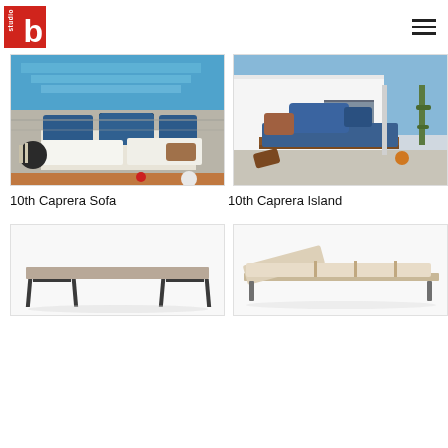studio b logo and navigation menu
[Figure (photo): Outdoor sofa set with blue cushions near a pool, aerial-ish view]
[Figure (photo): Outdoor island/daybed with blue and brown cushions in front of a white modern building]
10th Caprera Sofa
10th Caprera Island
[Figure (photo): Modern bench with taupe/brown surface and dark metal legs on white background]
[Figure (photo): Outdoor lounger/chaise with cream cushion on white background]